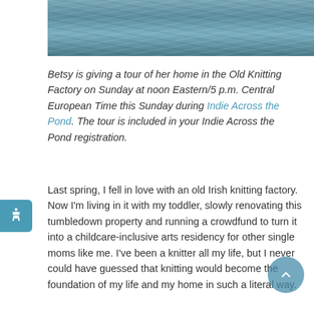[Figure (photo): Water/ocean surface photo with blue-grey tones]
Betsy is giving a tour of her home in the Old Knitting Factory on Sunday at noon Eastern/5 p.m. Central European Time this Sunday during Indie Across the Pond. The tour is included in your Indie Across the Pond registration.
Last spring, I fell in love with an old Irish knitting factory. Now I'm living in it with my toddler, slowly renovating this tumbledown property and running a crowdfund to turn it into a childcare-inclusive arts residency for other single moms like me. I've been a knitter all my life, but I never could have guessed that knitting would become the foundation of my life and my home in such a literal way.
Ever since leaving an abusive marriage, home ownership has been a fantasy of mine, but it's felt like a purely fantastic one for someone like me: a single parent, largely self-employed, an immigrant to Ireland. My son and I had gone from a domestic violence shelter to a hotel to a friend's guest room and finally